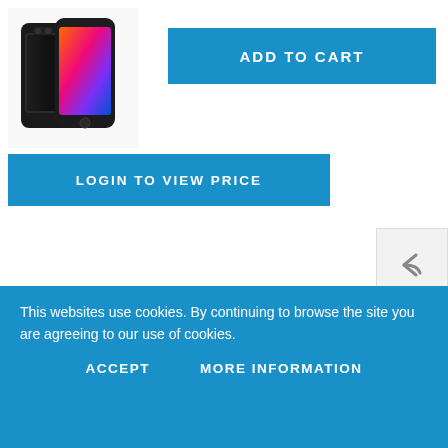[Figure (photo): iPhone 8 Plus product image showing two smartphones (black/space gray)]
ADD TO CART
LOGIN TO VIEW PRICE
[Figure (illustration): Reply/back arrow icon button]
[Figure (illustration): Heart (wishlist) icon button and envelope (email) icon button]
[Figure (illustration): Social share buttons: Facebook, Twitter, Email/Share, Pinterest, Plus]
Details
This websites use cookies. By continuing to browse the site you are agreeing to our use of cookies.
ACCEPT
MORE INFORMATION